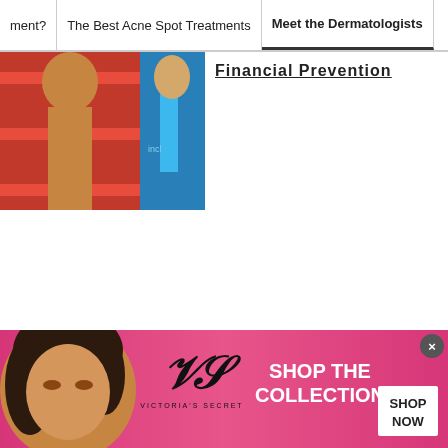ment? | The Best Acne Spot Treatments | Meet the Dermatologists
[Figure (photo): Partial navigation area with two photos: a woman in a red striped top and a man in a blue suit]
FinanS Flunction (partially visible, underlined heading)
[Figure (infographic): Victoria's Secret advertisement banner with a model, VS logo, 'SHOP THE COLLECTION' text, and a 'SHOP NOW' button on a pink background]